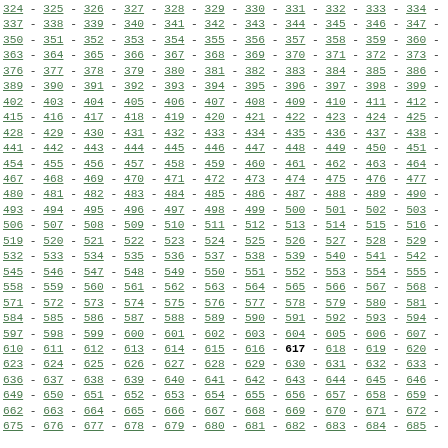324 - 325 - 326 - 327 - 328 - 329 - 330 - 331 - 332 - 333 - 334 - 335 - 337 - 338 - 339 - 340 - 341 - 342 - 343 - 344 - 345 - 346 - 347 - 348 - 350 - 351 - 352 - 353 - 354 - 355 - 356 - 357 - 358 - 359 - 360 - 361 - 363 - 364 - 365 - 366 - 367 - 368 - 369 - 370 - 371 - 372 - 373 - 374 - 376 - 377 - 378 - 379 - 380 - 381 - 382 - 383 - 384 - 385 - 386 - 387 - 389 - 390 - 391 - 392 - 393 - 394 - 395 - 396 - 397 - 398 - 399 - 400 - 402 - 403 - 404 - 405 - 406 - 407 - 408 - 409 - 410 - 411 - 412 - 413 - 415 - 416 - 417 - 418 - 419 - 420 - 421 - 422 - 423 - 424 - 425 - 426 - 428 - 429 - 430 - 431 - 432 - 433 - 434 - 435 - 436 - 437 - 438 - 439 - 441 - 442 - 443 - 444 - 445 - 446 - 447 - 448 - 449 - 450 - 451 - 452 - 454 - 455 - 456 - 457 - 458 - 459 - 460 - 461 - 462 - 463 - 464 - 465 - 467 - 468 - 469 - 470 - 471 - 472 - 473 - 474 - 475 - 476 - 477 - 478 - 480 - 481 - 482 - 483 - 484 - 485 - 486 - 487 - 488 - 489 - 490 - 491 - 493 - 494 - 495 - 496 - 497 - 498 - 499 - 500 - 501 - 502 - 503 - 504 - 506 - 507 - 508 - 509 - 510 - 511 - 512 - 513 - 514 - 515 - 516 - 517 - 519 - 520 - 521 - 522 - 523 - 524 - 525 - 526 - 527 - 528 - 529 - 530 - 532 - 533 - 534 - 535 - 536 - 537 - 538 - 539 - 540 - 541 - 542 - 543 - 545 - 546 - 547 - 548 - 549 - 550 - 551 - 552 - 553 - 554 - 555 - 556 - 558 - 559 - 560 - 561 - 562 - 563 - 564 - 565 - 566 - 567 - 568 - 569 - 571 - 572 - 573 - 574 - 575 - 576 - 577 - 578 - 579 - 580 - 581 - 582 - 584 - 585 - 586 - 587 - 588 - 589 - 590 - 591 - 592 - 593 - 594 - 595 - 597 - 598 - 599 - 600 - 601 - 602 - 603 - 604 - 605 - 606 - 607 - 608 - 610 - 611 - 612 - 613 - 614 - 615 - 616 - 617 - 618 - 619 - 620 - 621 - 623 - 624 - 625 - 626 - 627 - 628 - 629 - 630 - 631 - 632 - 633 - 634 - 636 - 637 - 638 - 639 - 640 - 641 - 642 - 643 - 644 - 645 - 646 - 647 - 649 - 650 - 651 - 652 - 653 - 654 - 655 - 656 - 657 - 658 - 659 - 660 - 662 - 663 - 664 - 665 - 666 - 667 - 668 - 669 - 670 - 671 - 672 - 673 - 675 - 676 - 677 - 678 - 679 - 680 - 681 - 682 - 683 - 684 - 685 - 686